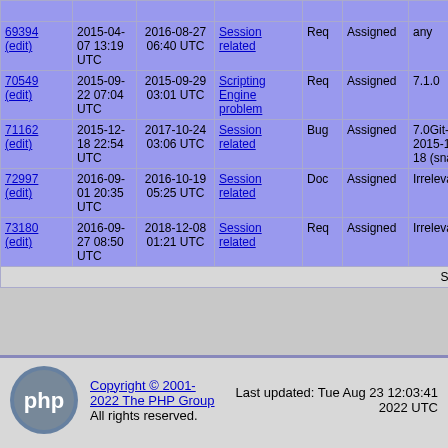| ID | Created | Modified | Summary | Type | Status | Version | Fixed |
| --- | --- | --- | --- | --- | --- | --- | --- |
| 69394 (edit) | 2015-04-07 13:19 UTC | 2016-08-27 06:40 UTC | Session related | Req | Assigned | any | any |
| 70549 (edit) | 2015-09-22 07:04 UTC | 2015-09-29 03:01 UTC | Scripting Engine problem | Req | Assigned | 7.1.0 |  |
| 71162 (edit) | 2015-12-18 22:54 UTC | 2017-10-24 03:06 UTC | Session related | Bug | Assigned | 7.0Git-2015-12-18 (snap) |  |
| 72997 (edit) | 2016-09-01 20:35 UTC | 2016-10-19 05:25 UTC | Session related | Doc | Assigned | Irrelevant | Irrelevant |
| 73180 (edit) | 2016-09-27 08:50 UTC | 2018-12-08 01:21 UTC | Session related | Req | Assigned | Irrelevant | Irrelevant |
Showing 1-10 of 14
Copyright © 2001-2022 The PHP Group. All rights reserved. Last updated: Tue Aug 23 12:03:41 2022 UTC